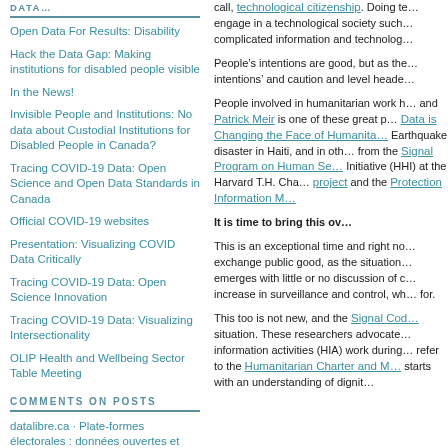Open Data For Results: Disability
Hack the Data Gap: Making institutions for disabled people visible
In the News!
Invisible People and Institutions: No data about Custodial Institutions for Disabled People in Canada?
Tracing COVID-19 Data: Open Science and Open Data Standards in Canada
Official COVID-19 websites
Presentation: Visualizing COVID Data Critically
Tracing COVID-19 Data: Open Science Innovation
Tracing COVID-19 Data: Visualizing Intersectionality
OLIP Health and Wellbeing Sector Table Meeting
COMMENTS ON POSTS
datalibre.ca · Plate-formes électorales : données ouvertes et
call, technological citizenship. Doing te... engage in a technological society such... complicated information and technolog...
People's intentions are good, but as the... intentions' and caution and level heade...
People involved in humanitarian work h... and Patrick Meir is one of these great p... Data is Changing the Face of Humanita... Earthquake disaster in Haiti, and in oth... from the Signal Program on Human Se... Initiative (HHI) at the Harvard T.H. Cha... project and the Protection Information M...
It is time to bring this ov...
This is an exceptional time and right no... exchange public good, as the situation... emerges with little or no discussion of c... increase in surveillance and control, wh... for.
This too is not new, and the Signal Cod... situation. These researchers advocate... information activities (HIA) work during... refer to the Humanitarian Charter and M... starts with an understanding of dignit...